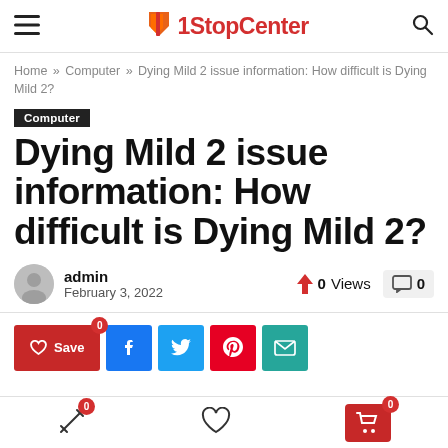1StopCenter
Home » Computer » Dying Mild 2 issue information: How difficult is Dying Mild 2?
Computer
Dying Mild 2 issue information: How difficult is Dying Mild 2?
admin
February 3, 2022
0 Views
0
Save 0